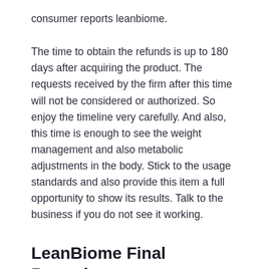consumer reports leanbiome.
The time to obtain the refunds is up to 180 days after acquiring the product. The requests received by the firm after this time will not be considered or authorized. So enjoy the timeline very carefully. And also, this time is enough to see the weight management and also metabolic adjustments in the body. Stick to the usage standards and also provide this item a full opportunity to show its results. Talk to the business if you do not see it working.
LeanBiome Final Remarks
LeanBiome capsules intend to enhance the